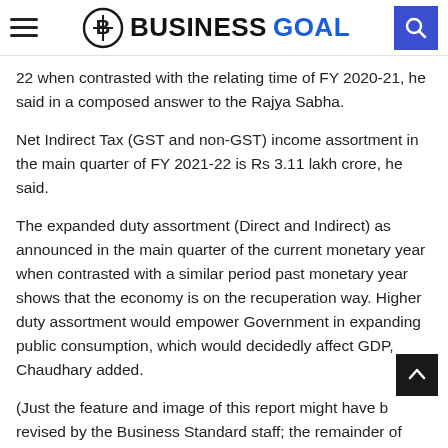BUSINESS GOAL
22 when contrasted with the relating time of FY 2020-21, he said in a composed answer to the Rajya Sabha.
Net Indirect Tax (GST and non-GST) income assortment in the main quarter of FY 2021-22 is Rs 3.11 lakh crore, he said.
The expanded duty assortment (Direct and Indirect) as announced in the main quarter of the current monetary year when contrasted with a similar period past monetary year shows that the economy is on the recuperation way. Higher duty assortment would empower Government in expanding public consumption, which would decidedly affect GDP, Chaudhary added.
(Just the feature and image of this report might have been revised by the Business Standard staff; the remainder of